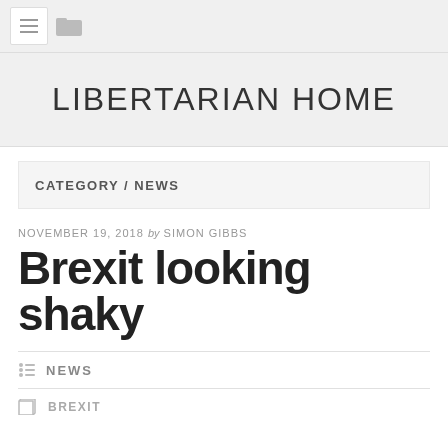LIBERTARIAN HOME
CATEGORY / NEWS
NOVEMBER 19, 2018 by SIMON GIBBS
Brexit looking shaky
NEWS
BREXIT